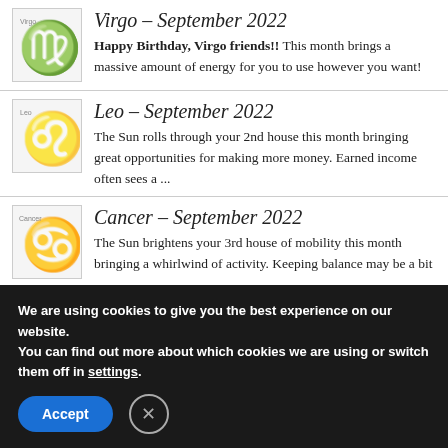[Figure (illustration): Virgo zodiac sign symbol in colorful mosaic style]
Virgo - September 2022
Happy Birthday, Virgo friends!!  This month brings a massive amount of energy for you to use however you want!
[Figure (illustration): Leo zodiac sign symbol in colorful mosaic style]
Leo - September 2022
The Sun rolls through your 2nd house this month bringing great opportunities for making more money.  Earned income often sees a ...
[Figure (illustration): Cancer zodiac sign symbol in colorful mosaic style]
Cancer - September 2022
The Sun brightens your 3rd house of mobility this month bringing a whirlwind of activity.  Keeping balance may be a bit ...
We are using cookies to give you the best experience on our website.
You can find out more about which cookies we are using or switch them off in settings.